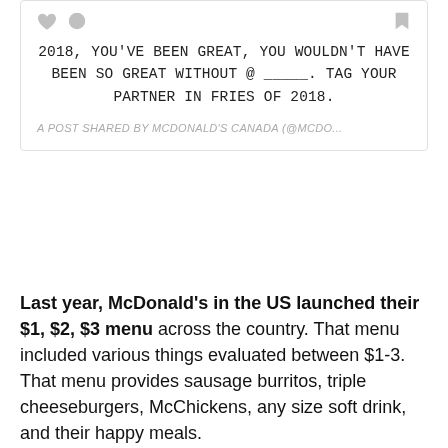[Figure (screenshot): Social media post card with heart, comment bubble, and bookmark icons. Post text reads: 2018, YOU'VE BEEN GREAT, YOU WOULDN'T HAVE BEEN SO GREAT WITHOUT @ _____. TAG YOUR PARTNER IN FRIES OF 2018. Attribution: A POST SHARED BY MCDONALD'S CANADA (@MCDO...]
Last year, McDonald's in the US launched their $1, $2, $3 menu across the country. That menu included various things evaluated between $1-3. That menu provides sausage burritos, triple cheeseburgers, McChickens, any size soft drink, and their happy meals.